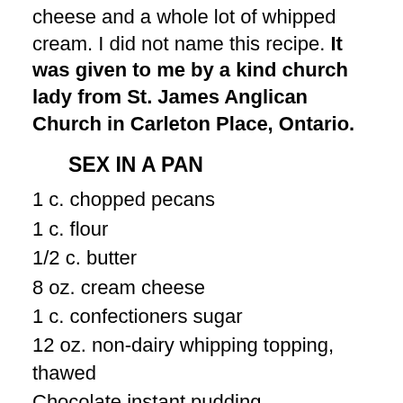cheese and a whole lot of whipped cream. I did not name this recipe. It was given to me by a kind church lady from St. James Anglican Church in Carleton Place, Ontario.
SEX IN A PAN
1 c. chopped pecans
1 c. flour
1/2 c. butter
8 oz. cream cheese
1 c. confectioners sugar
12 oz. non-dairy whipping topping, thawed
Chocolate instant pudding
Vanilla instant pudding
3 c. milk
Shaved chocolate bar
Mix pecans, flour and butter and press into 9 x 13 inch